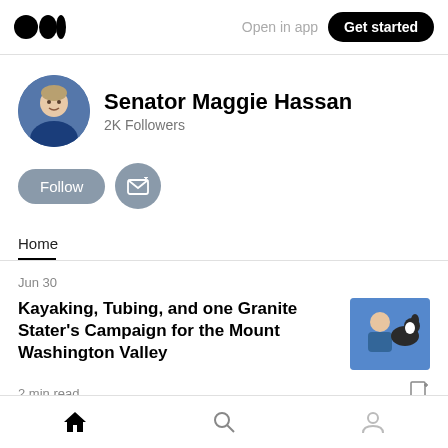Open in app | Get started
[Figure (photo): Senator Maggie Hassan avatar photo]
Senator Maggie Hassan
2K Followers
Follow | Subscribe button
Home
Jun 30
Kayaking, Tubing, and one Granite Stater's Campaign for the Mount Washington Valley
[Figure (photo): Thumbnail photo of person with dog outdoors]
2 min read
Home | Search | Profile